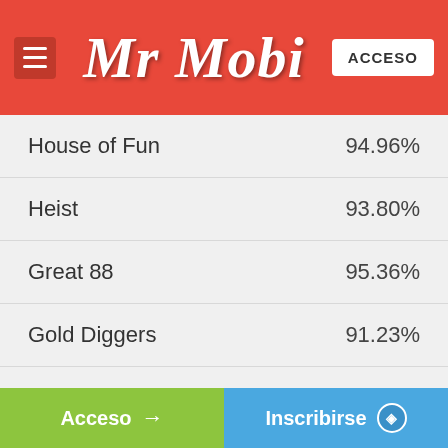Mr Mobi — ACCESO
| Game | RTP |
| --- | --- |
| House of Fun | 94.96% |
| Heist | 93.80% |
| Great 88 | 95.36% |
| Gold Diggers | 91.23% |
| Wildcraft | 96.21% |
| Maui Millions | 96.51% |
| Arabian Spins | 96.55% |
Acceso → | Inscribirse 🛡